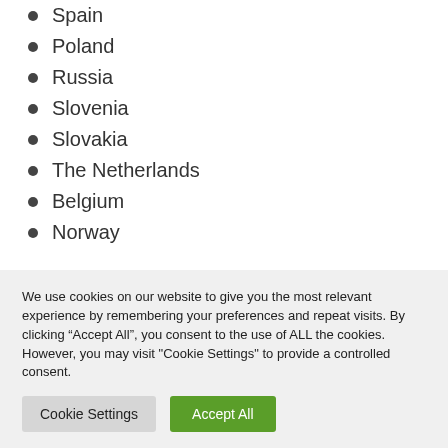Spain
Poland
Russia
Slovenia
Slovakia
The Netherlands
Belgium
Norway
We use cookies on our website to give you the most relevant experience by remembering your preferences and repeat visits. By clicking “Accept All”, you consent to the use of ALL the cookies. However, you may visit "Cookie Settings" to provide a controlled consent.
Cookie Settings | Accept All